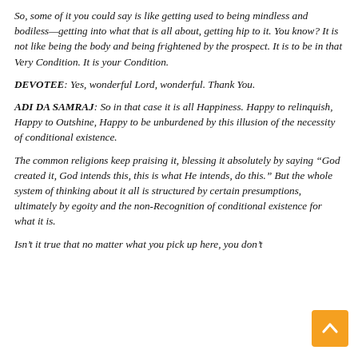So, some of it you could say is like getting used to being mindless and bodiless—getting into what that is all about, getting hip to it. You know? It is not like being the body and being frightened by the prospect. It is to be in that Very Condition. It is your Condition.
DEVOTEE: Yes, wonderful Lord, wonderful. Thank You.
ADI DA SAMRAJ: So in that case it is all Happiness. Happy to relinquish, Happy to Outshine, Happy to be unburdened by this illusion of the necessity of conditional existence.
The common religions keep praising it, blessing it absolutely by saying "God created it, God intends this, this is what He intends, do this." But the whole system of thinking about it all is structured by certain presumptions, ultimately by egoity and the non-Recognition of conditional existence for what it is.
Isn't it true that no matter what you pick up here, you don't